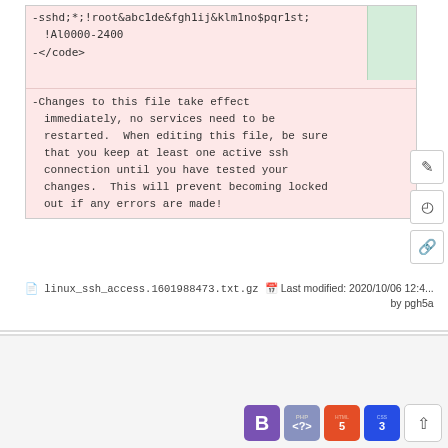-sshd;*;!root&abc1de&fgh1ij&klm1no$pqr1st;!Al0000-2400
-</code>
-Changes to this file take effect immediately, no services need to be restarted.  When editing this file, be sure that you keep at least one active ssh connection until you have tested your changes.  This will prevent becoming locked out if any errors are made!
linux_ssh_access.1601988473.txt.gz   Last modified: 2020/10/06 12:4... by pgh5a
[Figure (logo): University of Arizona Computing Support logo and footer with Bootstrap, PHP, HTML5, CSS3 badges]